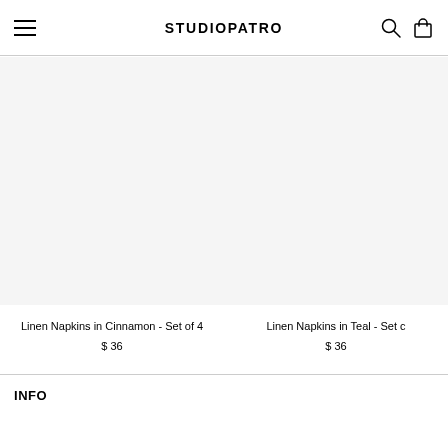STUDIOPATRO
[Figure (photo): Product photo area for Linen Napkins in Cinnamon - Set of 4 (white/empty placeholder)]
Linen Napkins in Cinnamon - Set of 4
$ 36
[Figure (photo): Product photo area for Linen Napkins in Teal - Set of 4 (white/empty placeholder, partially cropped)]
Linen Napkins in Teal - Set c...
$ 36
INFO